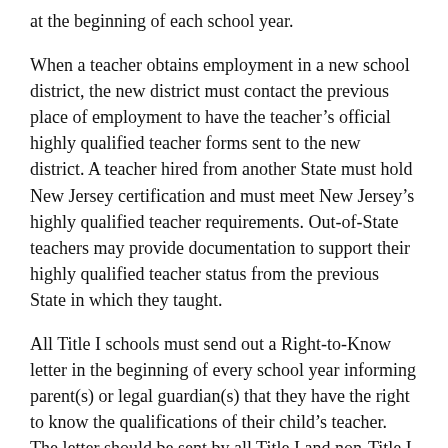at the beginning of each school year.
When a teacher obtains employment in a new school district, the new district must contact the previous place of employment to have the teacher's official highly qualified teacher forms sent to the new district. A teacher hired from another State must hold New Jersey certification and must meet New Jersey's highly qualified teacher requirements. Out-of-State teachers may provide documentation to support their highly qualified teacher status from the previous State in which they taught.
All Title I schools must send out a Right-to-Know letter in the beginning of every school year informing parent(s) or legal guardian(s) that they have the right to know the qualifications of their child's teacher. The letter should be sent by all Title I and non-Title I districts. In addition, in all Title I schools, the parent(s) or legal guardian(s) of pupils whose teacher is not yet